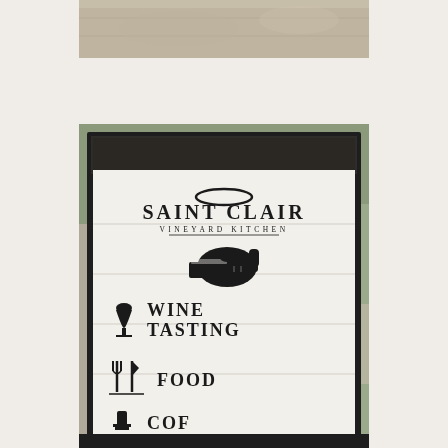[Figure (photo): Top portion of a photo showing a textured beige/stone wall or surface, cropped at top of page]
[Figure (photo): Outdoor A-frame sandwich board sign for Saint Clair Vineyard Kitchen, black frame with white wooden board interior. Sign shows the Saint Clair logo with halo, pointing hand illustration, then listing: Wine Tasting (with wine glass icon), Food (with crossed fork/knife icon), and partially visible Coffee entry at the bottom. Sign is photographed on a paved surface with greenery in the background.]